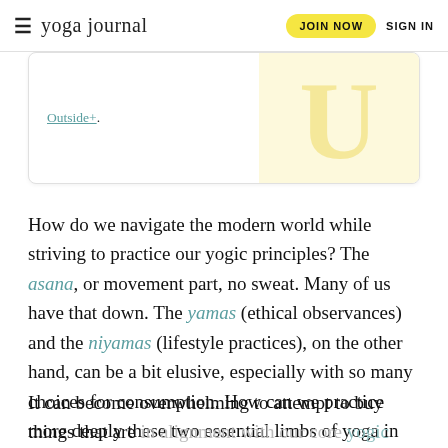yoga journal | JOIN NOW | SIGN IN
Outside+.
How do we navigate the modern world while striving to practice our yogic principles? The asana, or movement part, no sweat. Many of us have that down. The yamas (ethical observances) and the niyamas (lifestyle practices), on the other hand, can be a bit elusive, especially with so many choices for consumption. How can we practice more deeply these two essential limbs of yoga in our interconnected and entangled world?
It can become overwhelming to attempt to buy things that are in alignment with our core yogic principles, particularly when we start to consider how our purchases effect the environment